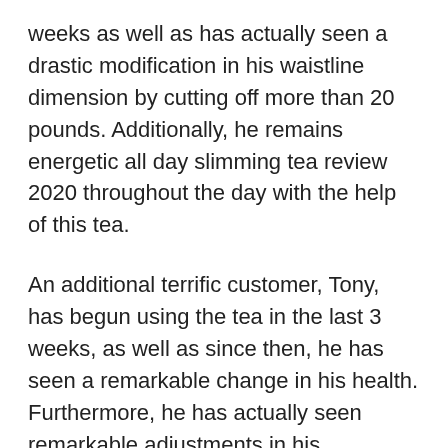weeks as well as has actually seen a drastic modification in his waistline dimension by cutting off more than 20 pounds. Additionally, he remains energetic all day slimming tea review 2020 throughout the day with the help of this tea.
An additional terrific customer, Tony, has begun using the tea in the last 3 weeks, as well as since then, he has seen a remarkable change in his health. Furthermore, he has actually seen remarkable adjustments in his consuming habits as well as feels energetic.
Like above, many consumer testimonials validate that All Day Slimming Tea tea includes impressive benefits and has revealed fantastic outcomes